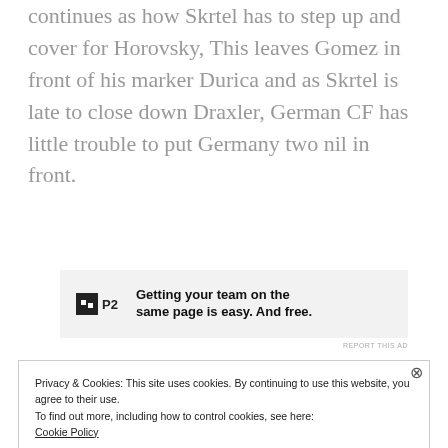continues as how Skrtel has to step up and cover for Horovsky, This leaves Gomez in front of his marker Durica and as Skrtel is late to close down Draxler, German CF has little trouble to put Germany two nil in front.
[Figure (other): Advertisement banner for P2 app with logo and text: Getting your team on the same page is easy. And free.]
Privacy & Cookies: This site uses cookies. By continuing to use this website, you agree to their use.
To find out more, including how to control cookies, see here:
Cookie Policy